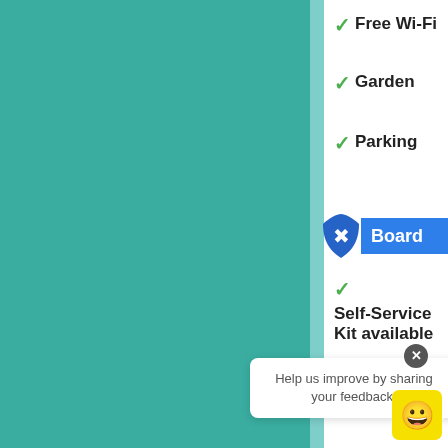[Figure (screenshot): Hotel/accommodation listing UI screenshot showing teal left panel, checkmark amenities list (Free Wi-Fi, Garden, Parking, Self-Service Kit available), Board and Location section badges, and a feedback popup at the bottom.]
✓ Free Wi-Fi
✓ Garden
✓ Parking
Board
✓ Self-Service Kit available
Location
Help us improve by sharing your feedback.